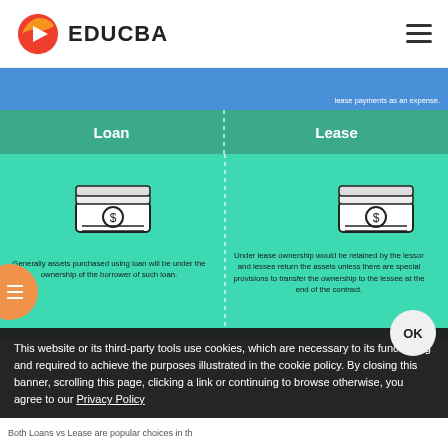EDUCBA
[Figure (infographic): Loan vs Lease comparison infographic with blue header, teal section headers showing 'Loan' and 'Lease' columns, money stack icons, and descriptive text under each column. Partially visible due to cookie banner overlay.]
lease payments as an expense.
Loan
Lease
Generally assets purchased using loan will be under the ownership of the borrower of such loan.
Under lease ownership would be retained by the lessor and lessee return the assets unless there are special provisions to transfer the ownership to the lessee at the end of the contract.
This website or its third-party tools use cookies, which are necessary to its functioning and required to achieve the purposes illustrated in the cookie policy. By closing this banner, scrolling this page, clicking a link or continuing to browse otherwise, you agree to our Privacy Policy
Both Loans vs Lease are popular choices in th